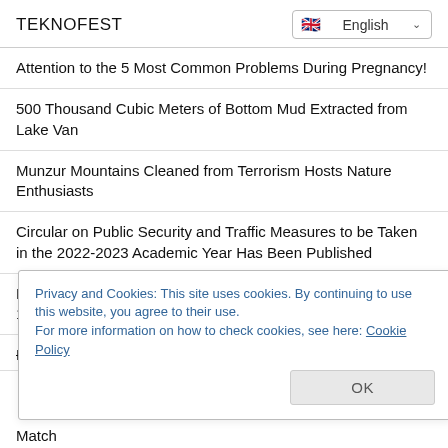TEKNOFEST
Attention to the 5 Most Common Problems During Pregnancy!
500 Thousand Cubic Meters of Bottom Mud Extracted from Lake Van
Munzur Mountains Cleaned from Terrorism Hosts Nature Enthusiasts
Circular on Public Security and Traffic Measures to be Taken in the 2022-2023 Academic Year Has Been Published
Number of High Speed Train Expeditions Will Increase from 10 to 44 as of September 56
Denizli Student Card Visa Period Has Started! Where will the
Privacy and Cookies: This site uses cookies. By continuing to use this website, you agree to their use.
For more information on how to check cookies, see here: Cookie Policy
OK
Match